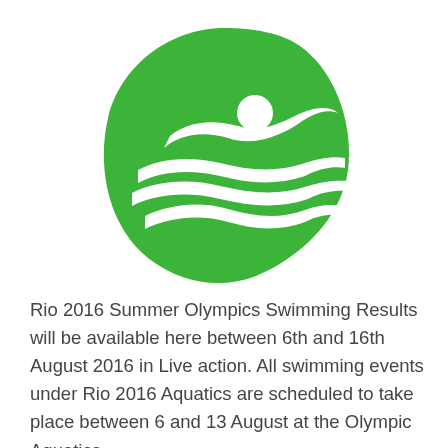[Figure (logo): Rio 2016 Olympics swimming pictogram — green teardrop/pebble shape containing a white swimmer silhouette (head as circle, arm stroke) and three white wave lines below]
Rio 2016 Summer Olympics Swimming Results will be available here between 6th and 16th August 2016 in Live action. All swimming events under Rio 2016 Aquatics are scheduled to take place between 6 and 13 August at the Olympic Aquatics ...